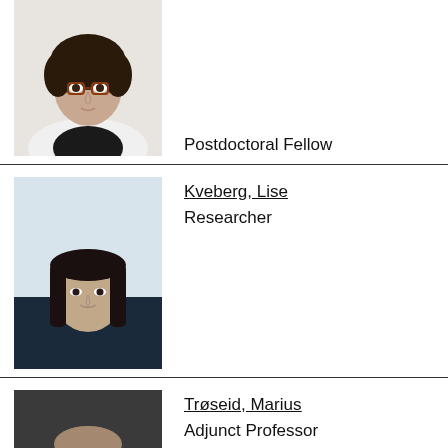[Figure (photo): Portrait photo of a woman with curly dark hair and glasses wearing a white top]
Postdoctoral Fellow
[Figure (photo): Portrait photo of Kveberg, Lise — a woman with straight dark hair wearing a dark top]
Kveberg, Lise
Researcher
[Figure (photo): Portrait photo of Trøseid, Marius — a man with a shaved head against a dark background]
Trøseid, Marius
Adjunct Professor